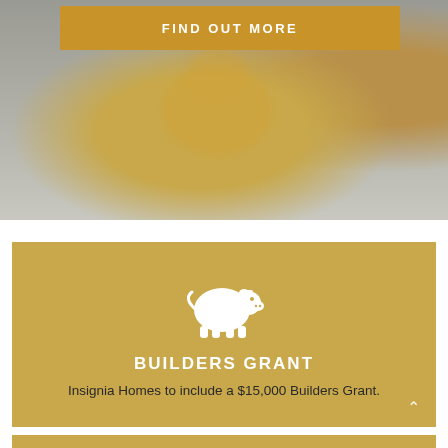[Figure (photo): Background photo of a person near a yellow piggy bank on a white surface, blurred/muted]
FIND OUT MORE
[Figure (illustration): White piggy bank icon with coin slot on top]
BUILDERS GRANT
Insignia Homes to include a $15,000 Builders Grant.